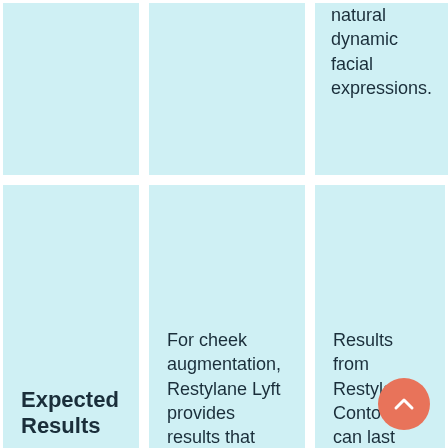natural dynamic facial expressions.
Expected Results
For cheek augmentation, Restylane Lyft provides results that can last for 6 to 12 months.
Results from Restylane Contour can last about a full year
Average Treatment Cost
The estimated cost for a Restylane Lyft treatment is $750
Restylane Contour for cheeks can cost around $750 - $1000